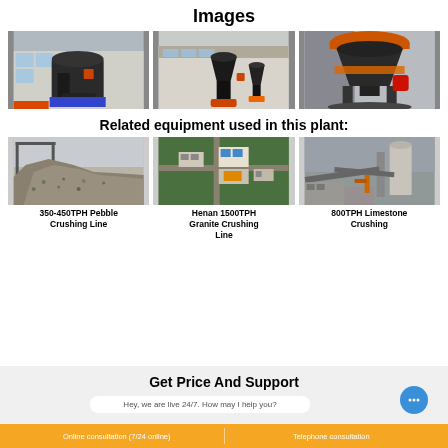Images
[Figure (photo): Three photos of cone crusher machines in an industrial facility]
Related equipment used in this plant:
[Figure (photo): Photo of a large pile of crushed aggregate/pebble material]
350-450TPH Pebble Crushing Line
[Figure (photo): Aerial view of Henan granite crushing plant facility]
Henan 1500TPH Granite Crushing Line
[Figure (photo): Photo of a limestone crushing facility with conveyors]
800TPH Limestone Crushing
Get Price And Support
Hey, we are live 24/7. How may I help you?
Online consultation (7/24 online)   Telephone consultation